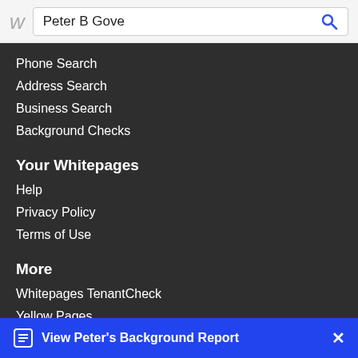Peter B Gove
Phone Search
Address Search
Business Search
Background Checks
Your Whitepages
Help
Privacy Policy
Terms of Use
More
Whitepages TenantCheck
Yellow Pages
White Pages
View Peter's Background Report